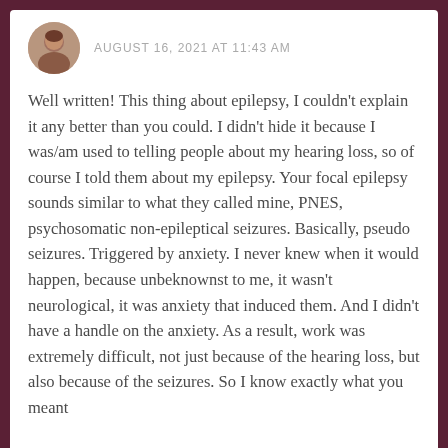AUGUST 16, 2021 AT 11:43 AM
Well written! This thing about epilepsy, I couldn't explain it any better than you could. I didn't hide it because I was/am used to telling people about my hearing loss, so of course I told them about my epilepsy. Your focal epilepsy sounds similar to what they called mine, PNES, psychosomatic non-epileptical seizures. Basically, pseudo seizures. Triggered by anxiety. I never knew when it would happen, because unbeknownst to me, it wasn't neurological, it was anxiety that induced them. And I didn't have a handle on the anxiety. As a result, work was extremely difficult, not just because of the hearing loss, but also because of the seizures. So I know exactly what you meant